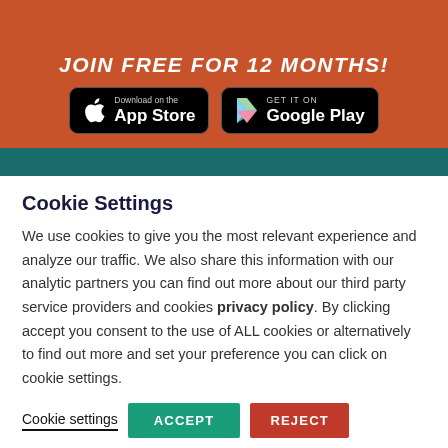[Figure (screenshot): App store download buttons on orange banner background: 'Download on the App Store' and 'GET IT ON Google Play']
Cookie Settings
We use cookies to give you the most relevant experience and analyze our traffic. We also share this information with our analytic partners you can find out more about our third party service providers and cookies privacy policy. By clicking accept you consent to the use of ALL cookies or alternatively to find out more and set your preference you can click on cookie settings.
Cookie settings   ACCEPT   REJECT